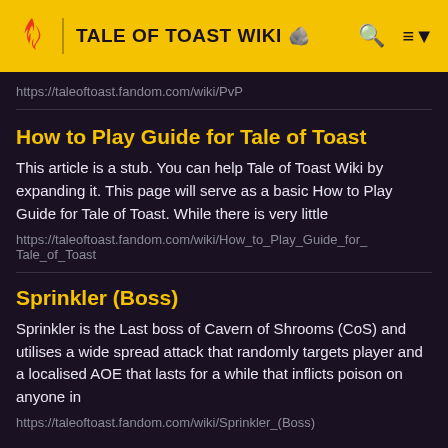TALE OF TOAST WIKI
https://taleoftoast.fandom.com/wiki/PvP
How to Play Guide for Tale of Toast
This article is a stub. You can help Tale of Toast Wiki by expanding it. This page will serve as a basic How to Play Guide for Tale of Toast. While there is very little
https://taleoftoast.fandom.com/wiki/How_to_Play_Guide_for_Tale_of_Toast
Sprinkler (Boss)
Sprinkler is the Last boss of Cavern of Shrooms (CoS) and utilises a wide spread attack that randomly targets player and a localised AOE that lasts for a while that inflicts poison on anyone in
https://taleoftoast.fandom.com/wiki/Sprinkler_(Boss)